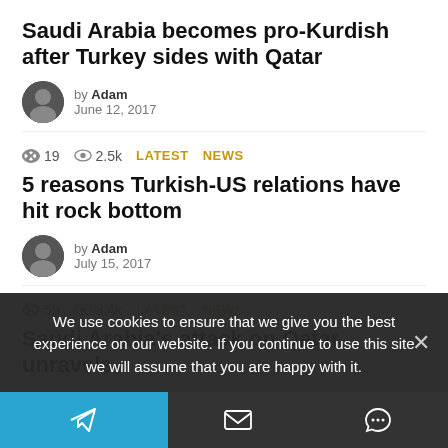Saudi Arabia becomes pro-Kurdish after Turkey sides with Qatar
by Adam
June 12, 2017
19  2.5k  LATEST NEWS
5 reasons Turkish-US relations have hit rock bottom
by Adam
July 15, 2017
59  8.4k  LATEST NEWS
Saudi Arabia's attack on Qatar unravels
We use cookies to ensure that we give you the best experience on our website. If you continue to use this site we will assume that you are happy with it.